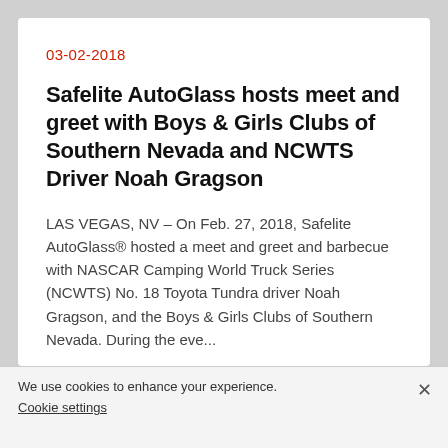03-02-2018
Safelite AutoGlass hosts meet and greet with Boys & Girls Clubs of Southern Nevada and NCWTS Driver Noah Gragson
LAS VEGAS, NV – On Feb. 27, 2018, Safelite AutoGlass® hosted a meet and greet and barbecue with NASCAR Camping World Truck Series (NCWTS) No. 18 Toyota Tundra driver Noah Gragson, and the Boys & Girls Clubs of Southern Nevada. During the eve...
Read more
We use cookies to enhance your experience.
Cookie settings